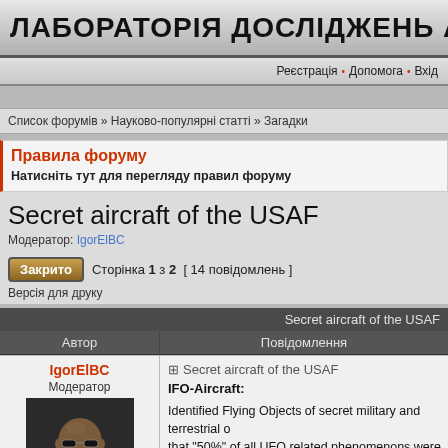ЛАБОРАТОРІЯ ДОСЛІДЖЕНЬ АНОМ
Реєстрація • Допомога • Вхід
Список форумів » Науково-популярні статті » Загадки
Правила форуму
Натисніть тут для перегляду правил форуму
Secret aircraft of the USAF
Модератор: IgorElBC
Закрито   Сторінка 1 з 2  [ 14 повідомлень ]
Версія для друку
Secret aircraft of the USAF
| Автор | Повідомлення |
| --- | --- |
| IgorElBC
Модератор
[avatar] | ⊞ Secret aircraft of the USAF
IFO-Aircraft:

Identified Flying Objects of secret military and terrestrial o... that "50%" of all UFO related phenomenons were caused... step to investigate the correctness of this statement, this... secret aircrafts would be a good start. |